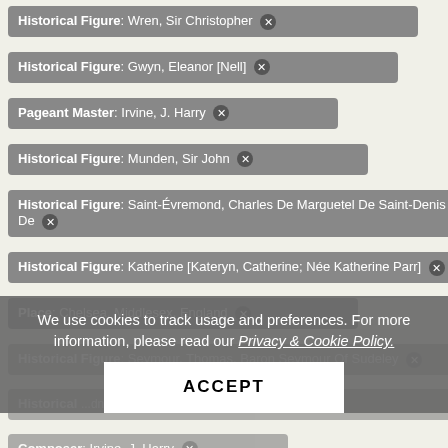Historical Figure: Wren, Sir Christopher ✕
Historical Figure: Gwyn, Eleanor [Nell] ✕
Pageant Master: Irvine, J. Harry ✕
Historical Figure: Munden, Sir John ✕
Historical Figure: Saint-Évremond, Charles De Marguetel De Saint-Denis De ✕
Historical Figure: Katherine [Kateryn, Catherine; Née Katherine Parr] ✕
Place: Chelsea, Middlesex, England ✕
Historical Figure: Seymour, Thomas, Baron Seymour Of Sudeley ✕
Historical Figure: [partially obscured] ...dnor ✕
Composer: Irvine, J. Harry ✕
Historical Figure: Ca... ✕
Historical Figure: Boswell, James ✕
We use cookies to track usage and preferences. For more information, please read our Privacy & Cookie Policy.
ACCEPT